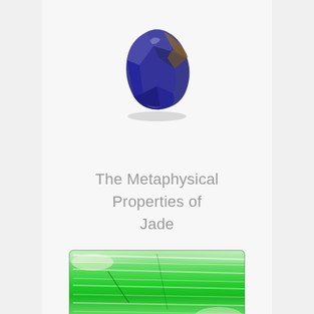[Figure (photo): A rough blue-purple tumbled gemstone (sodalite or iolite) on a white background, photographed from above with slight shadow]
The Metaphysical Properties of Jade
[Figure (photo): A close-up photograph of rough green jade mineral specimen showing vivid green and white crystalline fibrous texture]